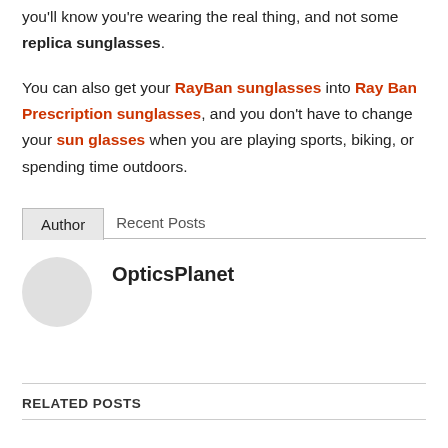you'll know you're wearing the real thing, and not some replica sunglasses.
You can also get your RayBan sunglasses into Ray Ban Prescription sunglasses, and you don't have to change your sun glasses when you are playing sports, biking, or spending time outdoors.
Author | Recent Posts
OpticsPlanet
RELATED POSTS